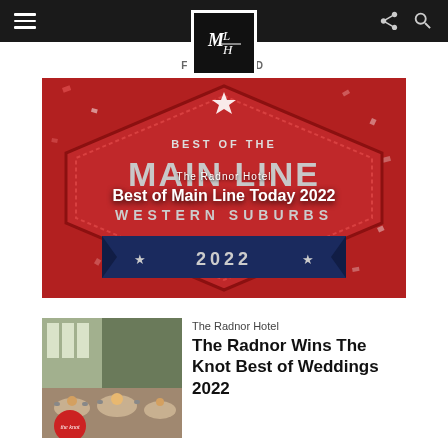Navigation bar with hamburger menu, MLH logo, share and search icons
FEATURED
[Figure (photo): Best of the Main Line Western Suburbs 2022 badge/graphic on red and navy background with confetti]
The Radnor Hotel
Best of Main Line Today 2022
[Figure (photo): Banquet hall interior with round tables set for a wedding reception]
The Radnor Hotel
The Radnor Wins The Knot Best of Weddings 2022